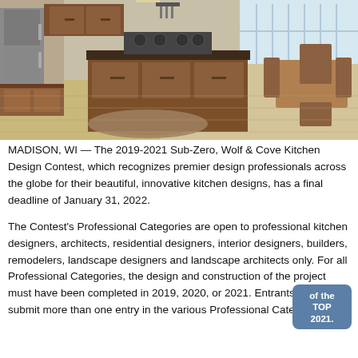[Figure (photo): A kitchen interior with a large wooden island with a stove top, hardwood floors, a braided rug, stainless steel appliances, and a dining table with chairs visible in the background near large windows.]
MADISON, WI — The 2019-2021 Sub-Zero, Wolf & Cove Kitchen Design Contest, which recognizes premier design professionals across the globe for their beautiful, innovative kitchen designs, has a final deadline of January 31, 2022.
The Contest's Professional Categories are open to professional kitchen designers, architects, residential designers, interior designers, builders, remodelers, landscape designers and landscape architects only. For all Professional Categories, the design and construction of the project must have been completed in 2019, 2020, or 2021. Entrants may submit more than one entry in the various Professional Categories.